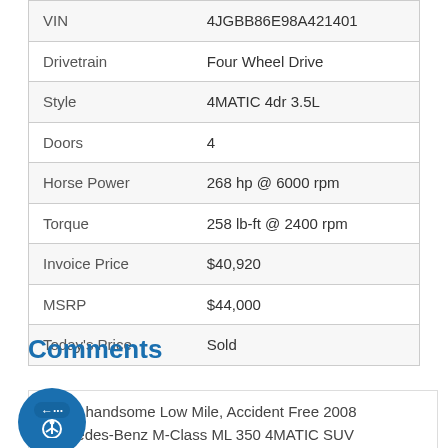| Field | Value |
| --- | --- |
| VIN | 4JGBB86E98A421401 |
| Drivetrain | Four Wheel Drive |
| Style | 4MATIC 4dr 3.5L |
| Doors | 4 |
| Horse Power | 268 hp @ 6000 rpm |
| Torque | 258 lb-ft @ 2400 rpm |
| Invoice Price | $40,920 |
| MSRP | $44,000 |
| Today's Price | Sold |
Comments
et our handsome Low Mile, Accident Free 2008 Mercedes-Benz M-Class ML 350 4MATIC SUV presented